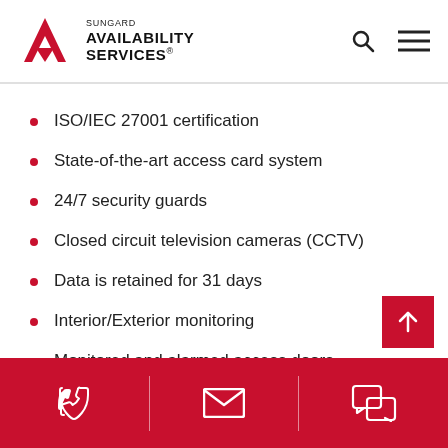[Figure (logo): Sungard Availability Services logo with red geometric arrow/triangle mark and text]
ISO/IEC 27001 certification
State-of-the-art access card system
24/7 security guards
Closed circuit television cameras (CCTV)
Data is retained for 31 days
Interior/Exterior monitoring
Monitored and alarmed access doors
Biometrics for Managed Services
[Figure (infographic): Footer bar with phone, email, and chat icons on red background]